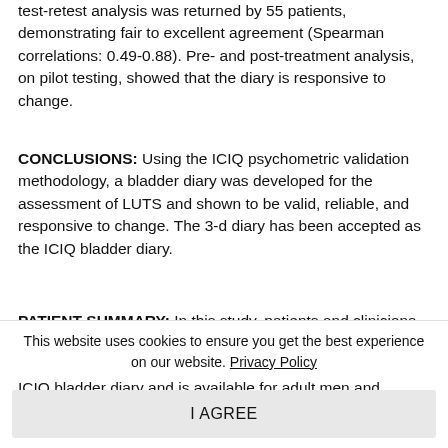test-retest analysis was returned by 55 patients, demonstrating fair to excellent agreement (Spearman correlations: 0.49-0.88). Pre- and post-treatment analysis, on pilot testing, showed that the diary is responsive to change.
CONCLUSIONS: Using the ICIQ psychometric validation methodology, a bladder diary was developed for the assessment of LUTS and shown to be valid, reliable, and responsive to change. The 3-d diary has been accepted as the ICIQ bladder diary.
PATIENT SUMMARY: In this study, patients and clinicians developed and tested a diary in which patients can record their urinary symptoms. The resulting 3-d diary is called the ICIQ bladder diary and is available for adult men and women with
This website uses cookies to ensure you get the best experience on our website. Privacy Policy
I AGREE